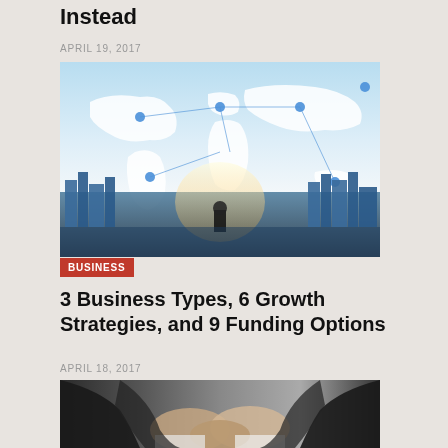Instead
APRIL 19, 2017
[Figure (photo): Business person standing before a cityscape with a glowing world map network overlay]
BUSINESS
3 Business Types, 6 Growth Strategies, and 9 Funding Options
APRIL 18, 2017
[Figure (photo): Business people shaking hands in a group handshake]